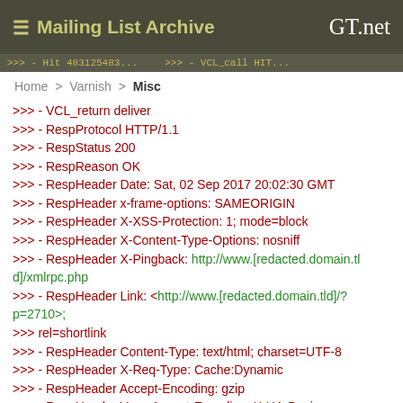≡ Mailing List Archive   GT.net
>>> - VCL_return deliver (truncated from top strip)
Home > Varnish > Misc
>>> - VCL_return deliver
>>> - RespProtocol HTTP/1.1
>>> - RespStatus 200
>>> - RespReason OK
>>> - RespHeader Date: Sat, 02 Sep 2017 20:02:30 GMT
>>> - RespHeader x-frame-options: SAMEORIGIN
>>> - RespHeader X-XSS-Protection: 1; mode=block
>>> - RespHeader X-Content-Type-Options: nosniff
>>> - RespHeader X-Pingback: http://www.[redacted.domain.tl
>>> d]/xmlrpc.php
>>> - RespHeader Link: <http://www.[redacted.domain.tld]/?p=2710>;
>>> rel=shortlink
>>> - RespHeader Content-Type: text/html; charset=UTF-8
>>> - RespHeader X-Req-Type: Cache:Dynamic
>>> - RespHeader Accept-Encoding: gzip
>>> - RespHeader Vary: Accept-Encoding, X-UA-Device
>>> - RespHeader X-UA-Device: mobile-android
>>> - RespHeader X-Req-Host: www.[redacted.domain.tld]